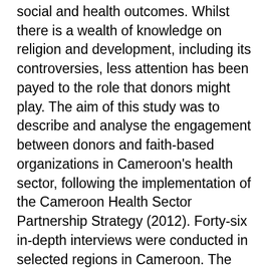social and health outcomes. Whilst there is a wealth of knowledge on religion and development, including its controversies, less attention has been payed to the role that donors might play. The aim of this study was to describe and analyse the engagement between donors and faith-based organizations in Cameroon's health sector, following the implementation of the Cameroon Health Sector Partnership Strategy (2012). Forty-six in-depth interviews were conducted in selected regions in Cameroon. The findings show that global advocacy efforts to increase partnerships with faith-based organizations have created a space for increasing donor engagement of faith-based organizations following the implementation of the strategy. However, the policy was perceived as top down as it did not take into account some of the existing challenges. The policy arguably accentuated some of the existing tensions between the government and faith-based organizations, fed faith-controversies and complicated the health system landscape. Moreover, it provided donors with a